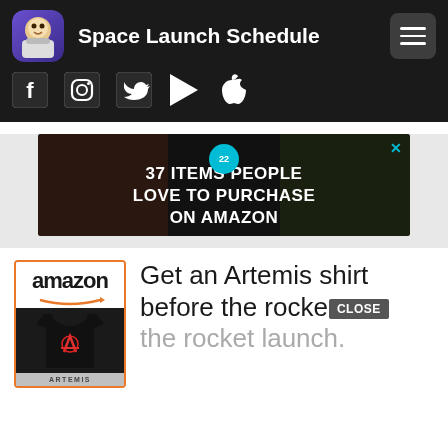Space Launch Schedule
[Figure (screenshot): Social media icons: Facebook, Instagram, Twitter, Google Play, Apple]
[Figure (photo): Advertisement banner: 37 ITEMS PEOPLE LOVE TO PURCHASE ON AMAZON with food/kitchen imagery and badge showing 22]
[Figure (photo): Amazon promotional box showing Artemis t-shirt with Amazon logo and orange border]
Get an Artemis shirt before the rocket launch.